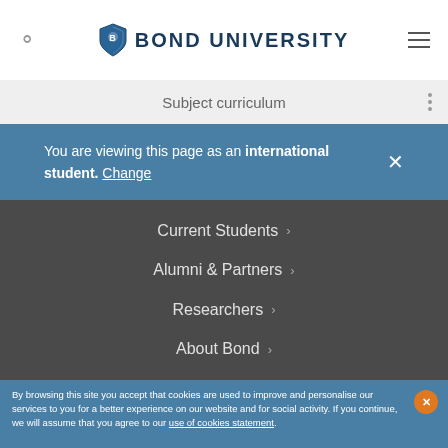BOND UNIVERSITY
Subject curriculum
You are viewing this page as an international student. Change
Current Students
Alumni & Partners
Researchers
About Bond
By browsing this site you accept that cookies are used to improve and personalise our services to you for a better experience on our website and for social activity. If you continue, we will assume that you agree to our use of cookies statement.